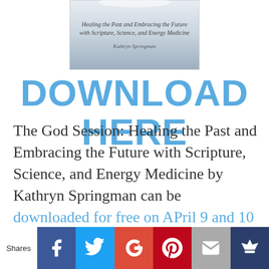[Figure (illustration): Book cover for 'The God Session: Healing the Past and Embracing the Future with Scripture, Science, and Energy Medicine' by Kathryn Springman. Gray/silver cover with italic text.]
DOWNLOAD HERE
The God Session: Healing the Past and Embracing the Future with Scripture, Science, and Energy Medicine by Kathryn Springman can be downloaded for free on APril 9 and 10 from Amazon.
Bridge the Gap between Scripture and Energy Medicine for Whole
[Figure (infographic): Social share bar at bottom with Shares label and buttons: Facebook (blue), Twitter (light blue), Google+ (red-orange), Pinterest (dark red), Email (gray), Crown/bookmark (dark blue)]